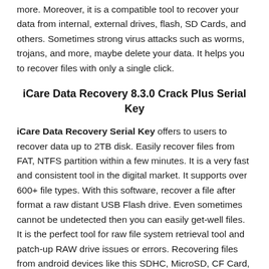more. Moreover, it is a compatible tool to recover your data from internal, external drives, flash, SD Cards, and others. Sometimes strong virus attacks such as worms, trojans, and more, maybe delete your data. It helps you to recover files with only a single click.
iCare Data Recovery 8.3.0 Crack Plus Serial Key
iCare Data Recovery Serial Key offers to users to recover data up to 2TB disk. Easily recover files from FAT, NTFS partition within a few minutes. It is a very fast and consistent tool in the digital market. It supports over 600+ file types. With this software, recover a file after format a raw distant USB Flash drive. Even sometimes cannot be undetected then you can easily get-well files. It is the perfect tool for raw file system retrieval tool and patch-up RAW drive issues or errors. Recovering files from android devices like this SDHC, MicroSD, CF Card, and as well as XD card etc.
It scans the particular disk and displays you a list of records that it is gifted to recover. It will robotically restore the file names and paste